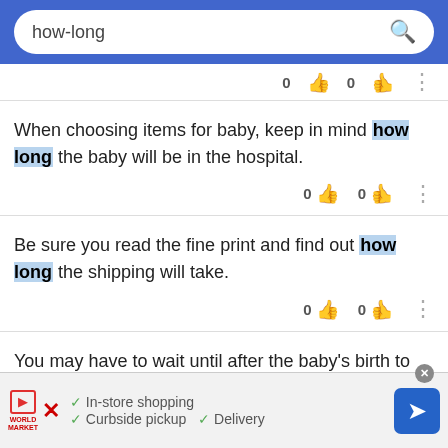[Figure (screenshot): Search bar with 'how-long' query on blue background]
When choosing items for baby, keep in mind how long the baby will be in the hospital.
Be sure you read the fine print and find out how long the shipping will take.
You may have to wait until after the baby's birth to get the actual name, but monogramming and personalization services rarely take longer than a
[Figure (screenshot): Ad banner: World Market store with In-store shopping, Curbside pickup, Delivery options]